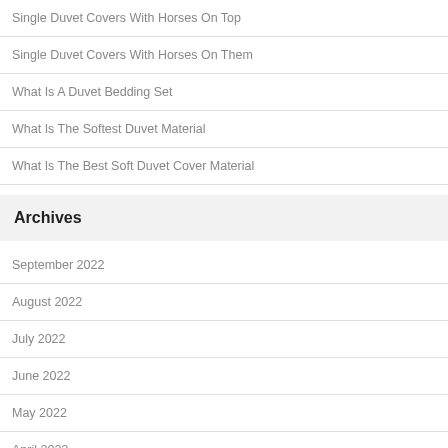Single Duvet Covers With Horses On Top
Single Duvet Covers With Horses On Them
What Is A Duvet Bedding Set
What Is The Softest Duvet Material
What Is The Best Soft Duvet Cover Material
Archives
September 2022
August 2022
July 2022
June 2022
May 2022
April 2022